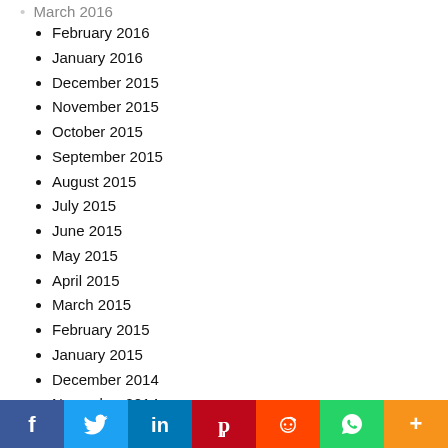March 2016 (partial/cut off)
February 2016
January 2016
December 2015
November 2015
October 2015
September 2015
August 2015
July 2015
June 2015
May 2015
April 2015
March 2015
February 2015
January 2015
December 2014
November 2014
October 2014
September 2014
August 2014
Social share bar: Facebook, Twitter, LinkedIn, Pinterest, Reddit, WhatsApp, More